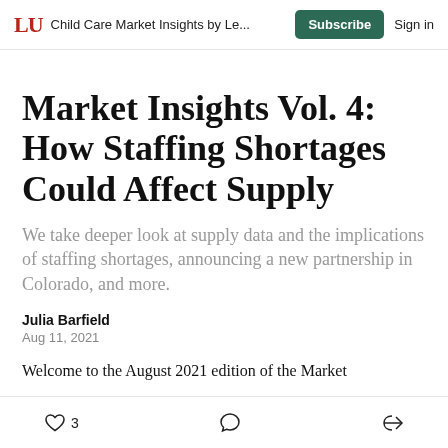LU  Child Care Market Insights by Le...  Subscribe  Sign in
Market Insights Vol. 4: How Staffing Shortages Could Affect Supply
We take deeper look at supply data and the implications of staffing shortages, announcing a new partnership in Colorado, and more.
Julia Barfield
Aug 11, 2021
Welcome to the August 2021 edition of the Market
3  [comment]  [share]